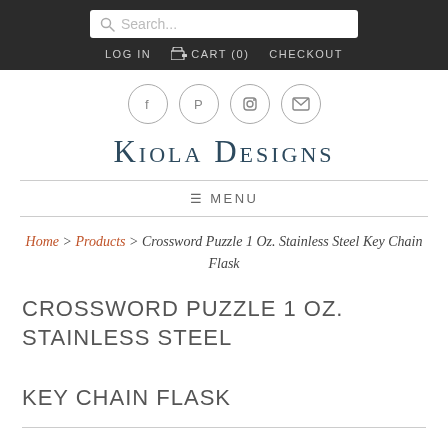Search... | LOG IN | CART (0) | CHECKOUT
[Figure (illustration): Social media icon circles: Facebook, Pinterest, Instagram, Email]
Kiola Designs
≡ MENU
Home > Products > Crossword Puzzle 1 Oz. Stainless Steel Key Chain Flask
CROSSWORD PUZZLE 1 OZ. STAINLESS STEEL KEY CHAIN FLASK